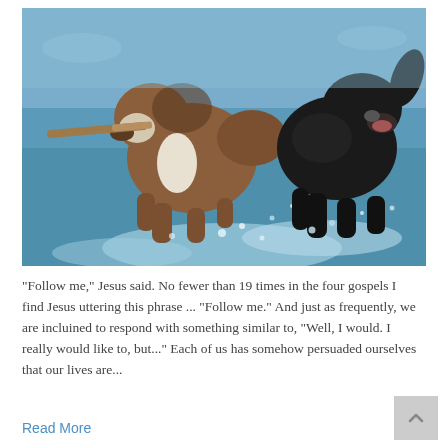[Figure (photo): Two dogs running through water — a brown and white dog carrying a stick in its mouth, and a black dog beside it, both splashing through a body of water.]
“Follow me,” Jesus said. No fewer than 19 times in the four gospels I find Jesus uttering this phrase ... “Follow me.” And just as frequently, we are incluined to respond with something similar to, “Well, I would. I really would like to, but...” Each of us has somehow persuaded ourselves that our lives are...
Read More